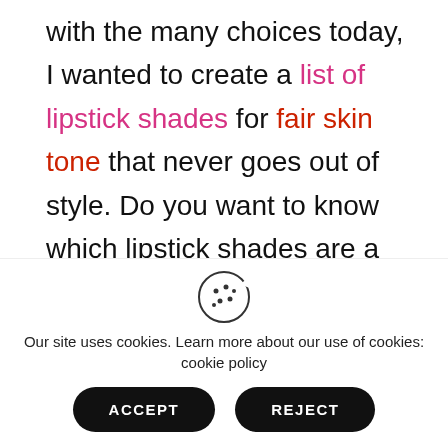with the many choices today, I wanted to create a list of lipstick shades for fair skin tone that never goes out of style. Do you want to know which lipstick shades are a classic staple for fair skin? Then, let's get on with it.

You'll find different color tones in this list of lipstick shades for fair skin that will compliment different undertones so go ahead and see if
Our site uses cookies. Learn more about our use of cookies: cookie policy